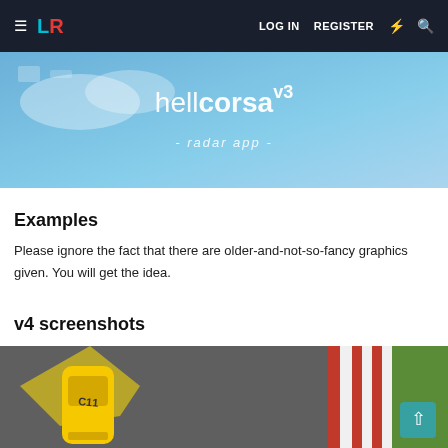LR | LOG IN  REGISTER
[Figure (screenshot): hellcorsa v3 - radar app - splash screen with blue sky background]
Examples
Please ignore the fact that there are older-and-not-so-fancy graphics given. You will get the idea.
v4 screenshots
[Figure (screenshot): Top-down view of yellow racing car (number C11) on a race track with red and white curbs and green grass, showing radar cone in yellow]